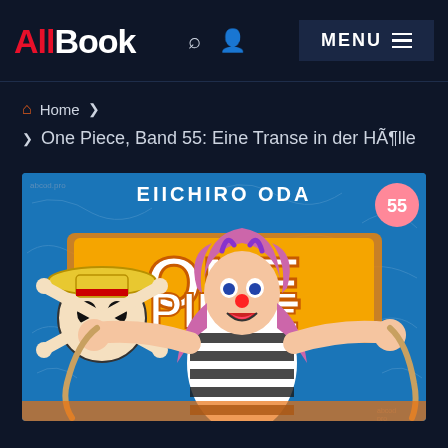AllBook  MENU
Home > One Piece, Band 55: Eine Transe in der HÃ¶lle
[Figure (illustration): Book cover of One Piece Volume 55 by Eiichiro Oda. Shows the One Piece logo in large orange letters with the iconic skull wearing a straw hat. A large character with purple striped clothing (Bon Clay/Mr. 2) is prominently featured in the center. The number 55 appears in a pink circle top right. The background is blue with chalk-like drawings.]